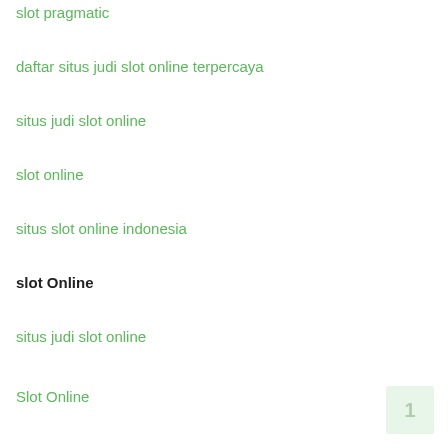slot pragmatic
daftar situs judi slot online terpercaya
situs judi slot online
slot online
situs slot online indonesia
slot Online
situs judi slot online
Slot Online